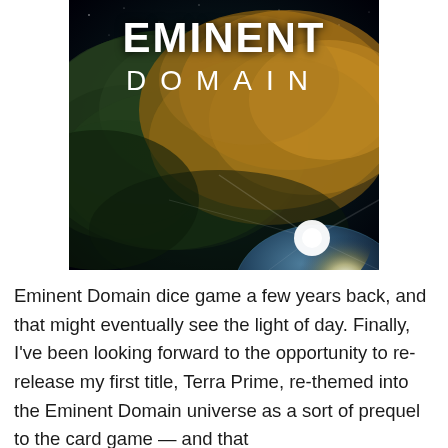[Figure (illustration): Book/game cover art for 'Eminent Domain' showing a space nebula scene with swirling green and gold clouds, a bright star/planet light source at the bottom right, and the title 'EMINENT DOMAIN' in large white bold text at the top.]
Eminent Domain dice game a few years back, and that might eventually see the light of day. Finally, I've been looking forward to the opportunity to re-release my first title, Terra Prime, re-themed into the Eminent Domain universe as a sort of prequel to the card game — and that